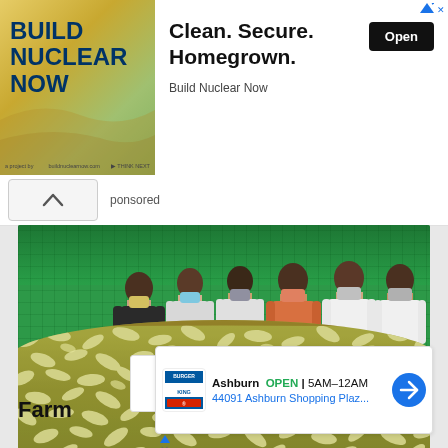[Figure (screenshot): Top advertisement banner for 'Build Nuclear Now' with logo on left (dark blue text on yellow-green gradient background) and 'Clean. Secure. Homegrown.' text on right with 'Open' button]
Clean. Secure. Homegrown.
Build Nuclear Now
ponsored
[Figure (photo): Group of 6 men wearing face masks standing around a large circular tank filled with fish/silkworm cocoons inside a green shade net structure]
Farm
[Figure (screenshot): Burger King location popup showing Ashburn location OPEN 5AM-12AM at 44091 Ashburn Shopping Plaz... with navigation arrow]